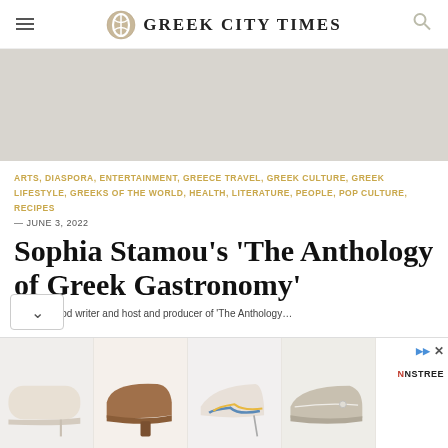GREEK CITY TIMES
[Figure (photo): Gray/beige hero image placeholder]
ARTS, DIASPORA, ENTERTAINMENT, GREECE TRAVEL, GREEK CULTURE, GREEK LIFESTYLE, GREEKS OF THE WORLD, HEALTH, LITERATURE, PEOPLE, POP CULTURE, RECIPES
— JUNE 3, 2022
Sophia Stamou's 'The Anthology of Greek Gastronomy'
...lished food writer and host and producer of 'The Anthology...
[Figure (photo): Advertisement banner showing four shoe images and NNSTREE brand label]